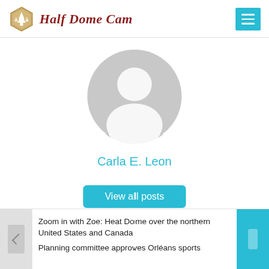Half Dome Cam
[Figure (illustration): Default user avatar placeholder — grey circle with white silhouette of a person's head and shoulders]
Carla E. Leon
View all posts
Zoom in with Zoe: Heat Dome over the northern United States and Canada
Planning committee approves Orléans sports